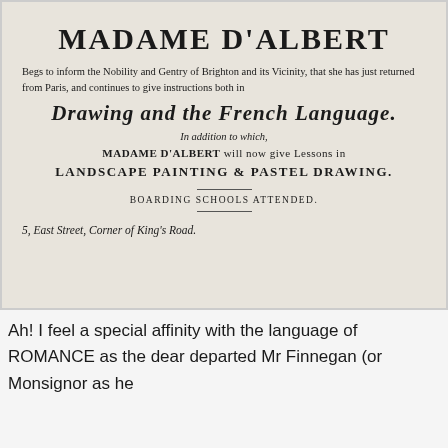MADAME D'ALBERT
Begs to inform the Nobility and Gentry of Brighton and its Vicinity, that she has just returned from Paris, and continues to give instructions both in
Drawing and the French Language.
In addition to which,
MADAME D'ALBERT will now give Lessons in
LANDSCAPE PAINTING & PASTEL DRAWING.
BOARDING SCHOOLS ATTENDED.
5, East Street, Corner of King's Road.
Ah! I feel a special affinity with the language of ROMANCE as the dear departed Mr Finnegan (or Monsignor as he